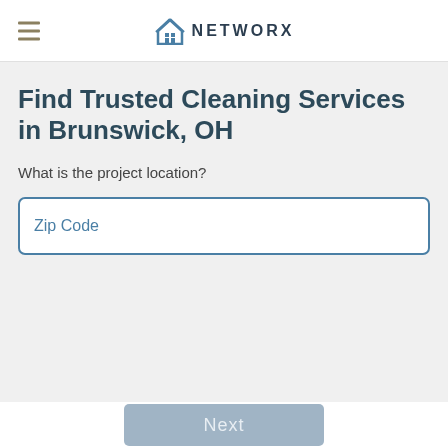NETWORX
Find Trusted Cleaning Services in Brunswick, OH
What is the project location?
Zip Code
Next